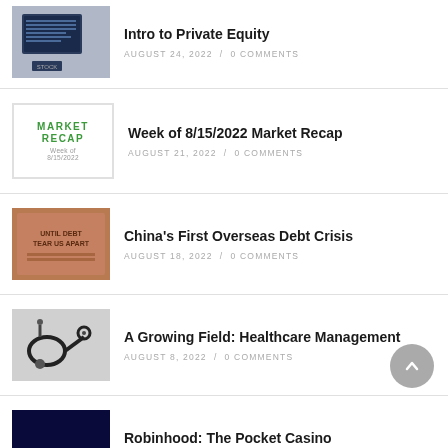Intro to Private Equity — AUGUST 24, 2022 / 0 COMMENTS
Week of 8/15/2022 Market Recap — AUGUST 21, 2022 / 0 COMMENTS
China's First Overseas Debt Crisis — AUGUST 18, 2022 / 0 COMMENTS
A Growing Field: Healthcare Management — AUGUST 8, 2022 / 0 COMMENTS
Robinhood: The Pocket Casino — AUGUST 7, 2022 / 0 COMMENTS
Week of 8/1/2022 Market Recap — (partial, cut off)